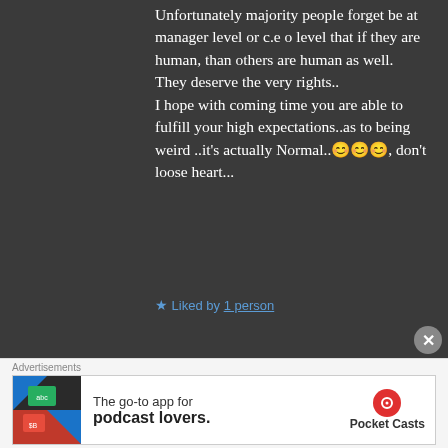Unfortunately majority people forget be at manager level or c.e o level that if they are human, than others are human as well.
They deserve the very rights..
I hope with coming time you are able to fulfill your high expectations..as to being weird ..it's actually Normal..😊😊😊, don't loose heart...
★ Liked by 1 person
[Figure (screenshot): Advertisement banner for Pocket Casts app: 'The go-to app for podcast lovers.' with Pocket Casts logo]